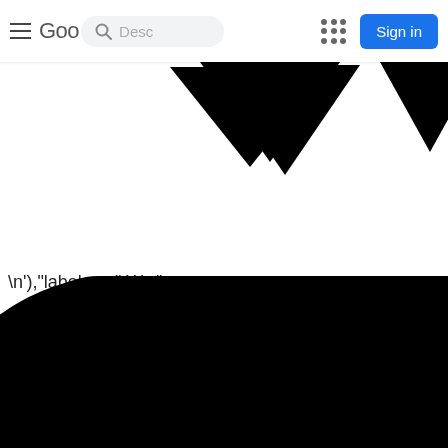[Figure (screenshot): Google-style navigation bar with hamburger menu, partial 'Goo' logo text, search box with magnifier icon and placeholder 'Desc', grid/apps icon, and blue 'Sign in' button]
[Figure (other): Two black downward-pointing triangular arrow/chevron shapes below the navbar]
\n'),"label.svg":We('
[Figure (other): Large black rounded parallelogram/chevron shape at the bottom of the page, partially cropped]